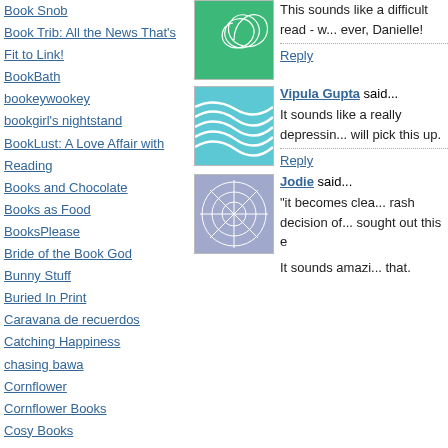Book Snob
Book Trib: All the News That's Fit to Link!
BookBath
bookeywookey
bookgirl's nightstand
BookLust: A Love Affair with Reading
Books and Chocolate
Books as Food
BooksPlease
Bride of the Book God
Bunny Stuff
Buried In Print
Caravana de recuerdos
Catching Happiness
chasing bawa
Cornflower
Cornflower Books
Cosy Books
This sounds like a difficult read - well done ever, Danielle!
Reply
Vipula Gupta said...
It sounds like a really depressing book but I will pick this up.
Reply
Jodie said...
"it becomes clear that the rash decision of one person sought out this e
It sounds amazi... that.